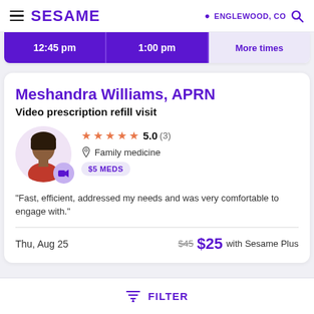SESAME  ENGLEWOOD, CO
[Figure (screenshot): Time slot buttons: 12:45 pm, 1:00 pm, More times]
Meshandra Williams, APRN
Video prescription refill visit
[Figure (photo): Photo of Meshandra Williams, APRN with video badge. Rating: 5.0 (3 reviews). Specialty: Family medicine. Badge: $5 MEDS]
"Fast, efficient, addressed my needs and was very comfortable to engage with."
Thu, Aug 25   $45  $25 with Sesame Plus
FILTER